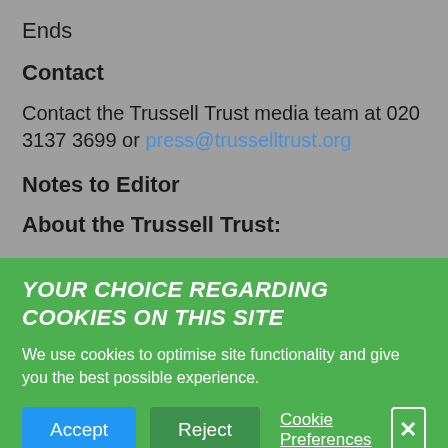Ends
Contact
Contact the Trussell Trust media team at 020 3137 3699 or press@trusselltrust.org
Notes to Editor
About the Trussell Trust:
YOUR CHOICE REGARDING COOKIES ON THIS SITE
We use cookies to optimise site functionality and give you the best possible experience.
Accept   Reject   Cookie Preferences   X